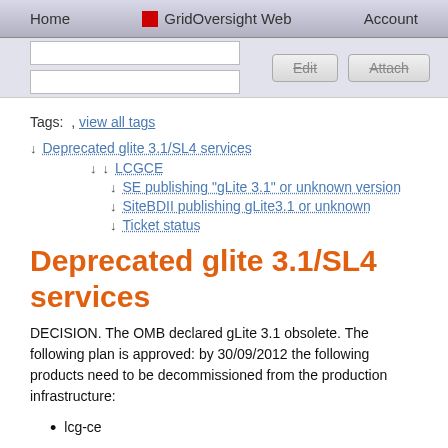Home | GridOversight Web | Account
Tags: , view all tags
↓ Deprecated glite 3.1/SL4 services
↓ LCGCE
↓ SE publishing "gLite 3.1" or unknown version
↓ SiteBDII publishing gLite3.1 or unknown
↓ Ticket status
Deprecated glite 3.1/SL4 services
DECISION. The OMB declared gLite 3.1 obsolete. The following plan is approved: by 30/09/2012 the following products need to be decommissioned from the production infrastructure:
lcg-ce
any site-BDII instance earlier than 3.2.10-1 (i.e. not GLUE 2.0 compatible)
all gLite 3.1 currently unsupported products: this includes